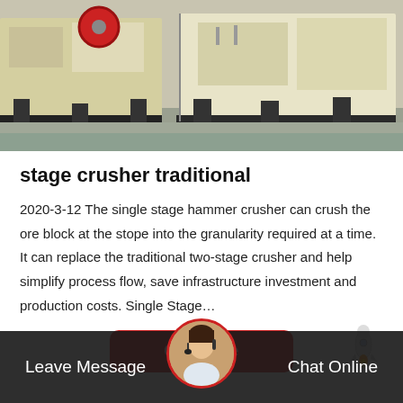[Figure (photo): Industrial jaw crusher machines in a yard, yellow and white heavy machinery equipment, multiple large crushers visible outdoors on concrete ground.]
stage crusher traditional
2020-3-12 The single stage hammer crusher can crush the ore block at the stope into the granularity required at a time. It can replace the traditional two-stage crusher and help simplify process flow, save infrastructure investment and production costs. Single Stage…
[Figure (illustration): Red rounded rectangle button labeled 'Get Price' in white text, with a small rocket emoji icon to the right.]
Leave Message   Chat Online